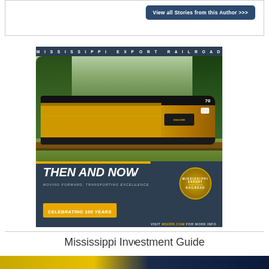[Figure (other): Button/link: 'View all Stories from this Author >>>']
[Figure (illustration): Mississippi Export Railroad advertisement showing a yellow locomotive numbered 70, with text: MISSISSIPPI EXPORT RAILROAD, THEN AND NOW, MOVING FORWARD, TRANSPORTING EXCELLENCE, CELEBRATING 100 YEARS, VISIT MSERR.COM FOR MORE INFO]
Mississippi Investment Guide
[Figure (photo): Partial image at bottom of page showing what appears to be a yellow and blue vehicle/equipment, cropped at page edge]